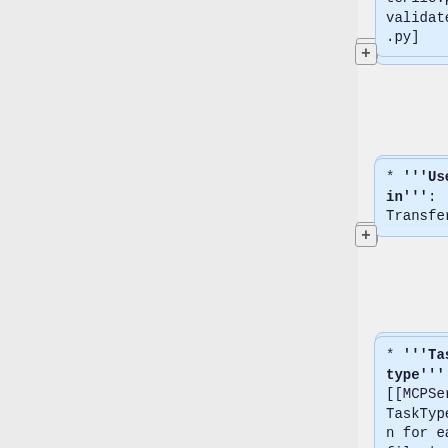teFile.py validateFile.py]
* '''Used in''': Transfer
* '''Task type''': [[MCPServer/TaskTypes#Run for each file | per file]]
* '''Event?''': validation
* '''FPR?''': validation,